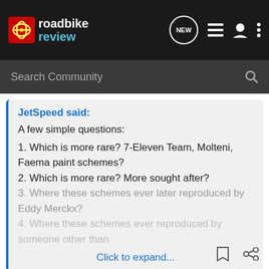roadbike review — navigation bar with logo, NEW button, list icon, user icon, menu icon
Search Community
JetSpeed said:
A few simple questions:
1. Which is more rare? 7-Eleven Team, Molteni, Faema paint schemes?
2. Which is more rare? More sought after?
3. Where these schemes ever later reproduced by Eddy Merckx?
4. Where these schemes ever reproduced by someone other than
Click to expand...
Martin